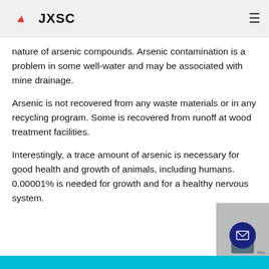JXSC
nature of arsenic compounds. Arsenic contamination is a problem in some well-water and may be associated with mine drainage.
Arsenic is not recovered from any waste materials or in any recycling program. Some is recovered from runoff at wood treatment facilities.
Interestingly, a trace amount of arsenic is necessary for good health and growth of animals, including humans. 0.00001% is needed for growth and for a healthy nervous system.